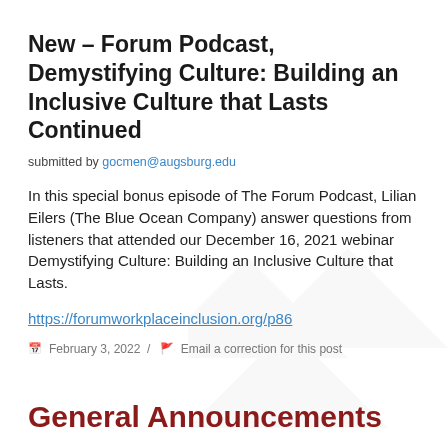New – Forum Podcast, Demystifying Culture: Building an Inclusive Culture that Lasts Continued
submitted by gocmen@augsburg.edu
In this special bonus episode of The Forum Podcast, Lilian Eilers (The Blue Ocean Company) answer questions from listeners that attended our December 16, 2021 webinar Demystifying Culture: Building an Inclusive Culture that Lasts.
https://forumworkplaceinclusion.org/p86
February 3, 2022  /  Email a correction for this post
General Announcements